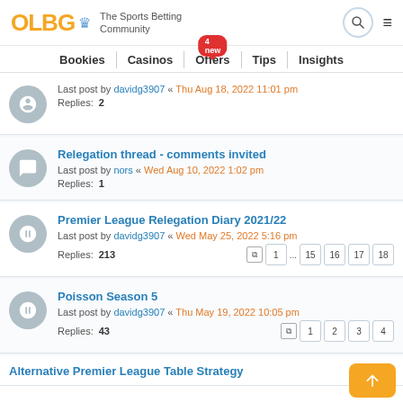OLBG The Sports Betting Community
Bookies | Casinos | Offers (4 new) | Tips | Insights
Last post by davidg3907 « Thu Aug 18, 2022 11:01 pm
Replies: 2
Relegation thread - comments invited
Last post by nors « Wed Aug 10, 2022 1:02 pm
Replies: 1
Premier League Relegation Diary 2021/22
Last post by davidg3907 « Wed May 25, 2022 5:16 pm
Replies: 213
Poisson Season 5
Last post by davidg3907 « Thu May 19, 2022 10:05 pm
Replies: 43
Alternative Premier League Table Strategy